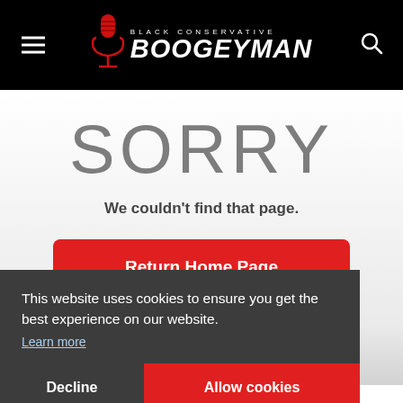BLACK CONSERVATIVE BOOGEYMAN (logo with hamburger menu and search icon)
SORRY
We couldn't find that page.
Return Home Page
This website uses cookies to ensure you get the best experience on our website. Learn more
Decline
Allow cookies